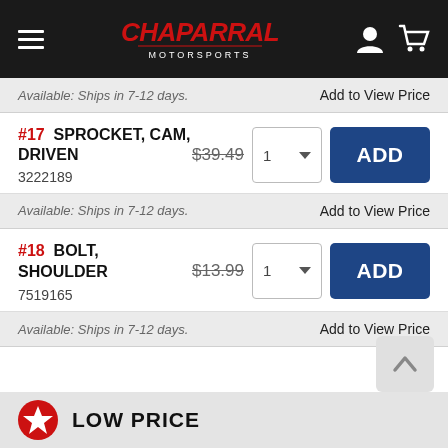Chaparral Motorsports
Available: Ships in 7-12 days.  Add to View Price
#17  SPROCKET, CAM, DRIVEN  $39.49  3222189  Available: Ships in 7-12 days.  Add to View Price
#18  BOLT, SHOULDER  $13.99  7519165  Available: Ships in 7-12 days.  Add to View Price
LOW PRICE